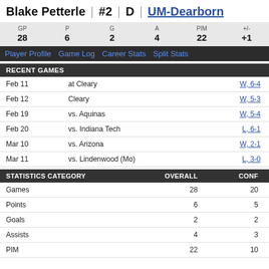Blake Petterle | #2 | D | UM-Dearborn
| GP | P | G | A | PIM | +/- |
| --- | --- | --- | --- | --- | --- |
| 28 | 6 | 2 | 4 | 22 | +1 |
Player Profile | Game Log | Career Stats | Split Stats
RECENT GAMES
| Date | Opponent | Result |
| --- | --- | --- |
| Feb 11 | at Cleary | W, 6-4 |
| Feb 12 | Cleary | W, 5-3 |
| Feb 19 | vs. Aquinas | W, 5-4 |
| Feb 20 | vs. Indiana Tech | L, 6-1 |
| Mar 10 | vs. Arizona | W, 2-1 |
| Mar 11 | vs. Lindenwood (Mo) | L, 3-0 |
| STATISTICS CATEGORY | OVERALL | CONF |
| --- | --- | --- |
| Games | 28 | 20 |
| Points | 6 | 5 |
| Goals | 2 | 2 |
| Assists | 4 | 3 |
| PIM | 22 | 10 |